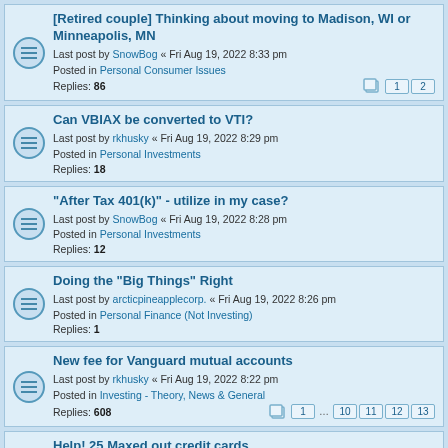[Retired couple] Thinking about moving to Madison, WI or Minneapolis, MN
Last post by SnowBog « Fri Aug 19, 2022 8:33 pm
Posted in Personal Consumer Issues
Replies: 86
Can VBIAX be converted to VTI?
Last post by rkhusky « Fri Aug 19, 2022 8:29 pm
Posted in Personal Investments
Replies: 18
"After Tax 401(k)" - utilize in my case?
Last post by SnowBog « Fri Aug 19, 2022 8:28 pm
Posted in Personal Investments
Replies: 12
Doing the "Big Things" Right
Last post by arcticpineapplecorp. « Fri Aug 19, 2022 8:26 pm
Posted in Personal Finance (Not Investing)
Replies: 1
New fee for Vanguard mutual accounts
Last post by rkhusky « Fri Aug 19, 2022 8:22 pm
Posted in Investing - Theory, News & General
Replies: 608
Help! 25 Maxed out credit cards.....
Last post by arcticpineapplecorp. « Fri Aug 19, 2022 8:18 pm
Posted in Personal Finance (Not Investing)
Replies: 147
Why is 100% stock portfolio considered high risk?
Last post by Lawrence of Suburbia « Fri Aug 19, 2022 8:14 pm